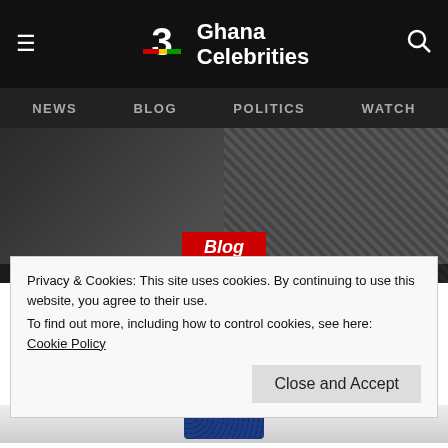Ghana Celebrities — NEWS | BLOG | POLITICS | WATCH
[Figure (photo): Hero image showing two people with a red 'Blog' badge overlaid]
I WOULD HAVE RESURRECTED TERRY BONCHAKA IF I HAD THE POWER – SHATTA WALE
Privacy & Cookies: This site uses cookies. By continuing to use this website, you agree to their use.
To find out more, including how to control cookies, see here: Cookie Policy
Close and Accept